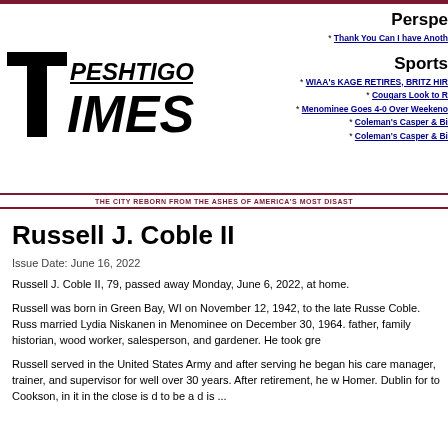[Figure (logo): Peshtigo Times newspaper logo in black bold font]
Perspectives
* Thank You Can I have Another
Sports
* WIAA's KAGE RETIRES, BRITZ HIR
* Cougars Look to R
* Menominee Goes 4-0 Over Weekend
* Coleman's Casper & Bi
* Coleman's Casper & Bi
THE CITY REBORN FROM THE ASHES OF AMERICA'S MOST DISAST
Russell J. Coble II
Issue Date: June 16, 2022
Russell J. Coble II, 79, passed away Monday, June 6, 2022, at home.
Russell was born in Green Bay, WI on November 12, 1942, to the late Russe Coble. Russ married Lydia Niskanen in Menominee on December 30, 1964. father, family historian, wood worker, salesperson, and gardener. He took gre
Russell served in the United States Army and after serving he began his care manager, trainer, and supervisor for well over 30 years. After retirement, he w Homer. Dublin for to Cookson, in it in the close is d to be a d is ...